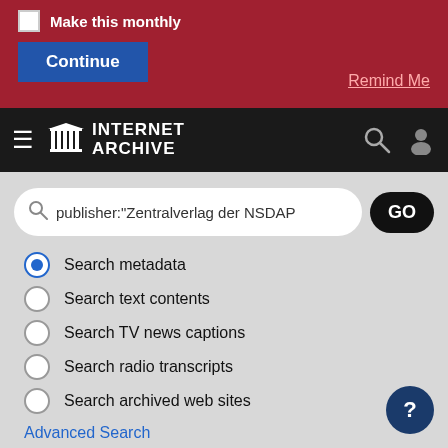[Figure (screenshot): Internet Archive website screenshot showing donation banner with Make this monthly checkbox and Continue button, navigation bar with Internet Archive logo, search box with query publisher:"Zentralverlag der NSDAP", search type radio buttons, Advanced Search link, Share and Favorite action items, and help button.]